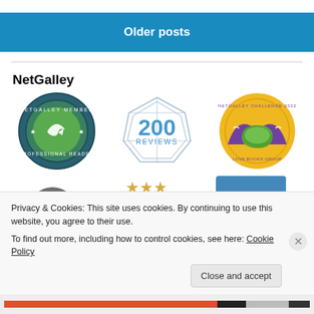Older posts
NetGalley
[Figure (logo): Three NetGalley badges: NetGalley Member Professional Reader badge (circular, dark teal and green), 200 Reviews badge (geometric octahedron outline with blue text), and a circular badge with mountains and books (yellow and purple)]
[Figure (logo): Partial view of additional NetGalley badges (partially visible at bottom of page)]
Privacy & Cookies: This site uses cookies. By continuing to use this website, you agree to their use.
To find out more, including how to control cookies, see here: Cookie Policy
Close and accept